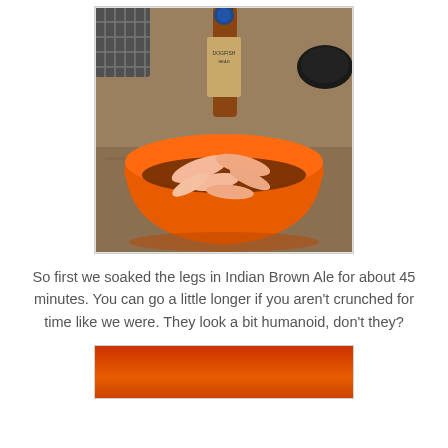[Figure (photo): Photo of raw crab or frog legs soaking in dark beer (Indian Brown Ale) inside a bright orange bowl. A beer bottle is visible in the background, along with kitchen items on a granite countertop.]
So first we soaked the legs in Indian Brown Ale for about 45 minutes. You can go a little longer if you aren't crunched for time like we were. They look a bit humanoid, don't they?
[Figure (photo): Partial view of another food photo (bottom of page, cropped), appearing to show a similar orange bowl with food.]